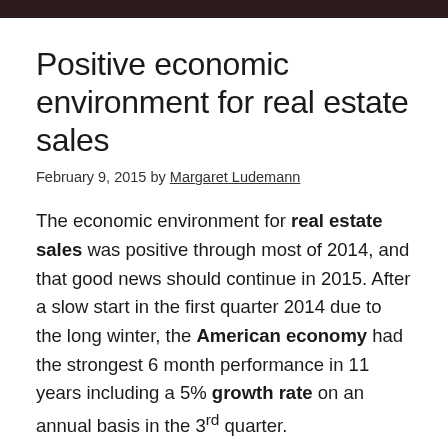Positive economic environment for real estate sales
February 9, 2015 by Margaret Ludemann
The economic environment for real estate sales was positive through most of 2014, and that good news should continue in 2015. After a slow start in the first quarter 2014 due to the long winter, the American economy had the strongest 6 month performance in 11 years including a 5% growth rate on an annual basis in the 3rd quarter.
Job growth picked up steam in 2014. Nationally the seasonally adjusted unemployment rate fell to 5.6%,